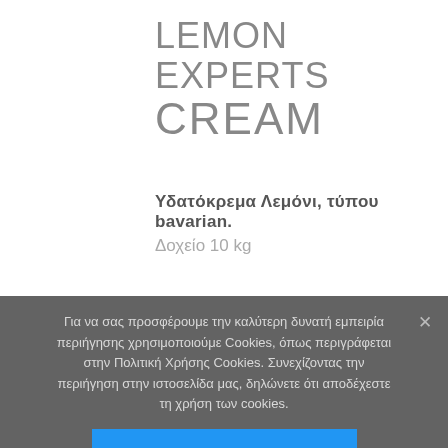LEMON EXPERTS CREAM
Υδατόκρεμα Λεμόνι, τύπου bavarian.
Δοχείο 10 kg
Για να σας προσφέρουμε την καλύτερη δυνατή εμπειρία περιήγησης χρησιμοποιούμε Cookies, όπως περιγράφεται στην Πολιτική Χρήσης Cookies. Συνεχίζοντας την περιήγηση στην ιστοσελίδα μας, δηλώνετε ότι αποδέχεστε τη χρήση των cookies.
ΑΠΟΔΕΧΟΜΑΙ
ΜΑΘΕ ΠΕΡΙΣΣΟΤΕΡΑ